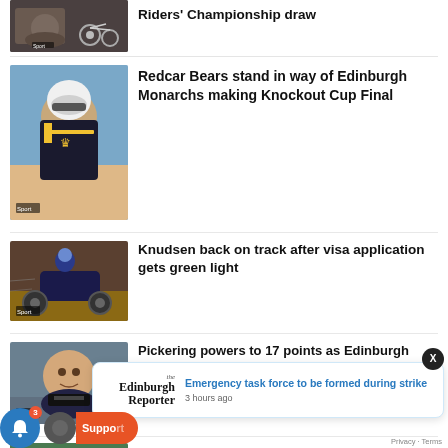[Figure (photo): Partial article thumbnail of motorcycle/speedway racing with Sport badge, and headline partially visible at top]
Riders' Championship draw
[Figure (photo): Speedway rider portrait photo with helmet]
Redcar Bears stand in way of Edinburgh Monarchs making Knockout Cup Final
[Figure (photo): Speedway rider on track with Sport badge]
Knudsen back on track after visa application gets green light
[Figure (photo): Close-up portrait of male rider with Sport badge]
Pickering powers to 17 points as Edinburgh Monarchs edge Oxford Cheetahs
[Figure (photo): Partial thumbnail of rider at bottom]
Emergency task force to be formed during strike
3 hours ago